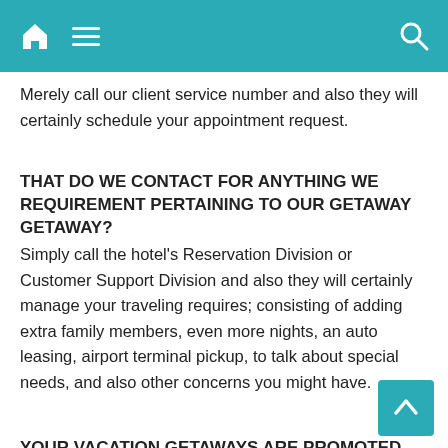Navigation bar with home, menu, and search icons
Merely call our client service number and also they will certainly schedule your appointment request.
THAT DO WE CONTACT FOR ANYTHING WE REQUIREMENT PERTAINING TO OUR GETAWAY GETAWAY?
Simply call the hotel's Reservation Division or Customer Support Division and also they will certainly manage your traveling requires; consisting of adding extra family members, even more nights, an auto leasing, airport terminal pickup, to talk about special needs, and also other concerns you might have.
YOUR VACATION GETAWAYS ARE PROMOTED FOR 2 ADULTS CHILDREN. WHAT DO WE DO IF WE HAVE EVEN MORE MEMBER OF